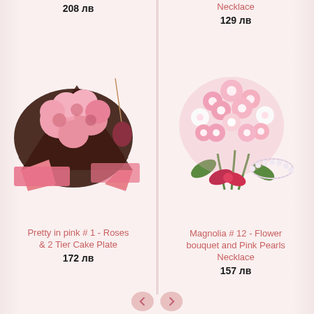208 лв
Necklace
129 лв
[Figure (photo): Pink roses bouquet wrapped in dark packaging with a necklace pendant visible]
[Figure (photo): Pink and white alstroemeria flower bouquet with red bow and pearl necklace]
Pretty in pink # 1 - Roses & 2 Tier Cake Plate
172 лв
Magnolia # 12 - Flower bouquet and Pink Pearls Necklace
157 лв
< >